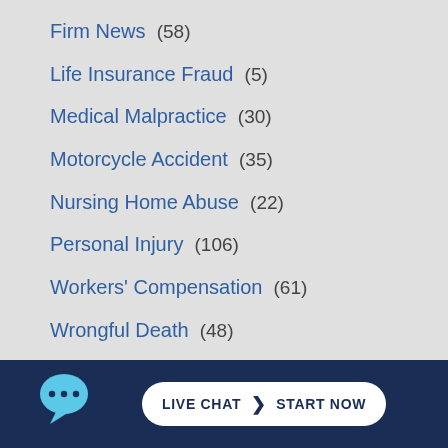Firm News  (58)
Life Insurance Fraud  (5)
Medical Malpractice  (30)
Motorcycle Accident  (35)
Nursing Home Abuse  (22)
Personal Injury  (106)
Workers' Compensation  (61)
Wrongful Death  (48)
[Figure (illustration): Live chat button with chat bubble icon and 'LIVE CHAT > START NOW' text on dark navy background]